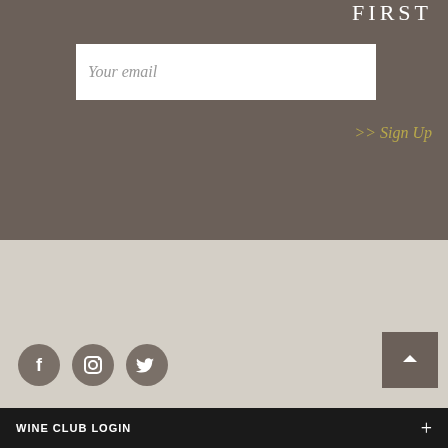FIRST
Your email
>> Sign Up
[Figure (illustration): Social media icons: Facebook, Instagram, Twitter (circular grey icons)]
[Figure (illustration): Back to top button: dark taupe square with white upward chevron arrow]
WINE CLUB LOGIN +